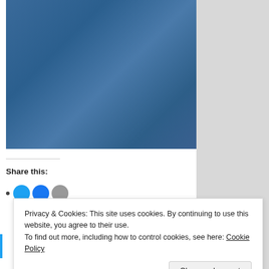[Figure (photo): Blue gradient background image filling the upper left portion of the page]
Share this:
[Figure (infographic): Social sharing icons: bullet point followed by circular Twitter (blue), Facebook (blue), and grey icon buttons]
Privacy & Cookies: This site uses cookies. By continuing to use this website, you agree to their use.
To find out more, including how to control cookies, see here: Cookie Policy
Close and accept